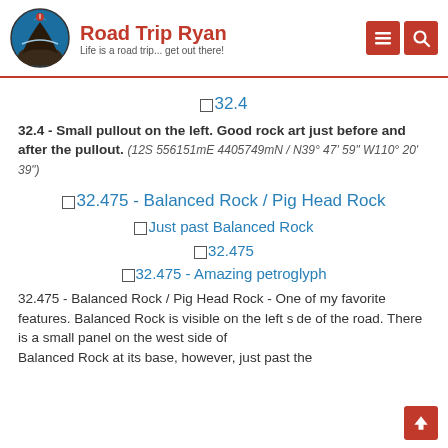Road Trip Ryan - Life is a road trip... get out there!
32.4
32.4 - Small pullout on the left. Good rock art just before and after the pullout. (12S 556151mE 4405749mN / N39° 47' 59" W110° 20' 39")
32.475 - Balanced Rock / Pig Head Rock
Just past Balanced Rock
32.475
32.475 - Amazing petroglyph
32.475 - Balanced Rock / Pig Head Rock - One of my favorite features. Balanced Rock is visible on the left side of the road. There is a small panel on the west side of Balanced Rock at its base, however, just past the